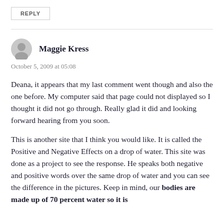REPLY
Maggie Kress
October 5, 2009 at 05:08
Deana, it appears that my last comment went though and also the one before. My computer said that page could not displayed so I thought it did not go through. Really glad it did and looking forward hearing from you soon.
This is another site that I think you would like. It is called the Positive and Negative Effects on a drop of water. This site was done as a project to see the response. He speaks both negative and positive words over the same drop of water and you can see the difference in the pictures. Keep in mind, our bodies are made up of 70 percent water so it is